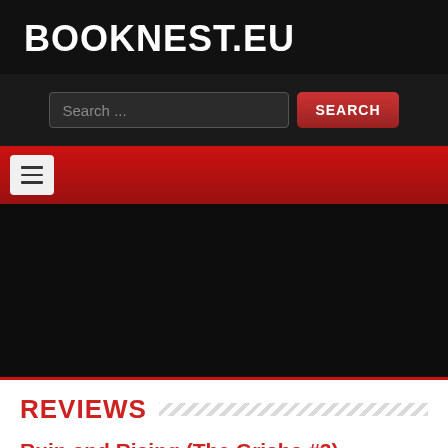BOOKNEST.EU
[Figure (screenshot): Search bar with text input field showing placeholder 'Search ...' and a red SEARCH button]
[Figure (screenshot): Red navigation bar with hamburger menu button (three horizontal lines)]
[Figure (screenshot): Dark black content area with a red bottom border]
REVIEWS
Ruin and Rising (The Grisha #3)